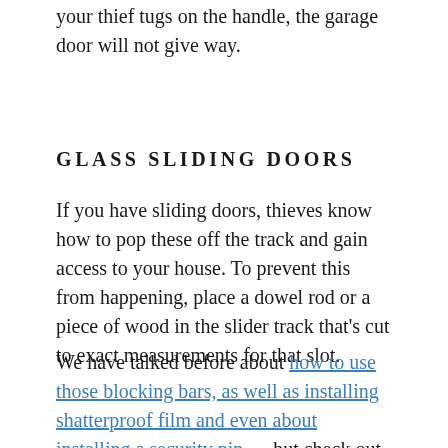your thief tugs on the handle, the garage door will not give way.
GLASS SLIDING DOORS
If you have sliding doors, thieves know how to pop these off the track and gain access to your house. To prevent this from happening, place a dowel rod or a piece of wood in the slider track that's cut to exact measurements for that slot.
We have talked before about how to use those blocking bars, as well as installing shatterproof film and even about installing a security pin … but check out this video on what a thief